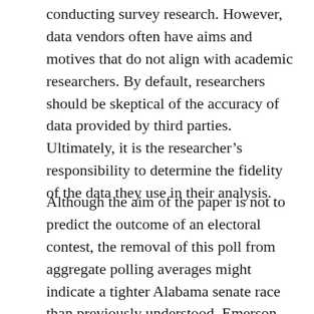conducting survey research. However, data vendors often have aims and motives that do not align with academic researchers. By default, researchers should be skeptical of the accuracy of data provided by third parties. Ultimately, it is the researcher's responsibility to determine the fidelity of the data they use in their analysis.
Although the aim of the paper is not to predict the outcome of an electoral contest, the removal of this poll from aggregate polling averages might indicate a tighter Alabama senate race than previously understood. Emerson College Polling released an additional poll that surveyed support for Roy Moore and Doug Jones in the Alabama